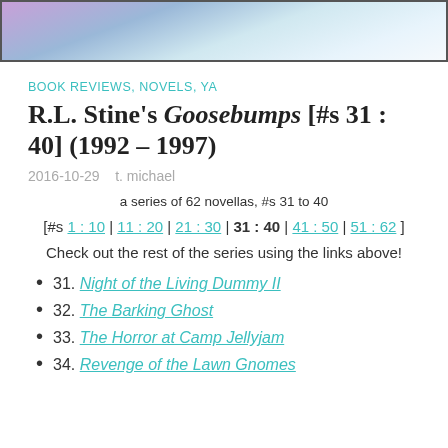[Figure (illustration): Top portion of a book cover illustration showing a snowy winter scene with purple/pink sky and trees, cropped at the top]
BOOK REVIEWS, NOVELS, YA
R.L. Stine's Goosebumps [#s 31 : 40] (1992 – 1997)
2016-10-29    t. michael
a series of 62 novellas, #s 31 to 40
[#s 1 : 10 | 11 : 20 | 21 : 30 | 31 : 40 | 41 : 50 | 51 : 62 ]
Check out the rest of the series using the links above!
31. Night of the Living Dummy II
32. The Barking Ghost
33. The Horror at Camp Jellyjam
34. Revenge of the Lawn Gnomes